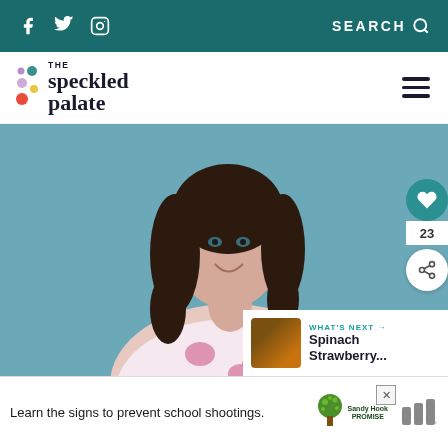Facebook Twitter Instagram | SEARCH
[Figure (logo): The Speckled Palate logo with colorful dots and site name]
[Figure (photo): Smiling woman with curly dark hair wearing a white and pink floral sleeveless top, posed against a teal/blue background. Side buttons show a heart icon with count 23 and a share button. A 'What's Next' panel shows Spinach Strawberry... item.]
WHAT'S NEXT → Spinach Strawberry...
Learn the signs to prevent school shootings.